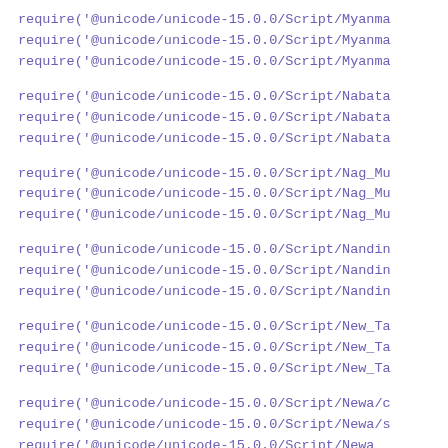require('@unicode/unicode-15.0.0/Script/Myanma
require('@unicode/unicode-15.0.0/Script/Myanma
require('@unicode/unicode-15.0.0/Script/Myanma
require('@unicode/unicode-15.0.0/Script/Nabata
require('@unicode/unicode-15.0.0/Script/Nabata
require('@unicode/unicode-15.0.0/Script/Nabata
require('@unicode/unicode-15.0.0/Script/Nag_Mu
require('@unicode/unicode-15.0.0/Script/Nag_Mu
require('@unicode/unicode-15.0.0/Script/Nag_Mu
require('@unicode/unicode-15.0.0/Script/Nandin
require('@unicode/unicode-15.0.0/Script/Nandin
require('@unicode/unicode-15.0.0/Script/Nandin
require('@unicode/unicode-15.0.0/Script/New_Ta
require('@unicode/unicode-15.0.0/Script/New_Ta
require('@unicode/unicode-15.0.0/Script/New_Ta
require('@unicode/unicode-15.0.0/Script/Newa/c
require('@unicode/unicode-15.0.0/Script/Newa/s
require('@unicode/unicode-15.0.0/Script/Newa